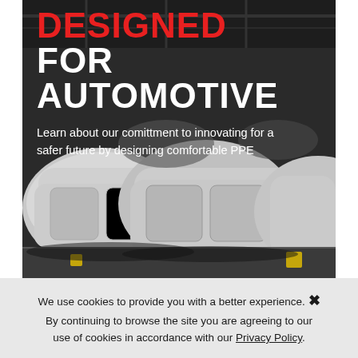[Figure (photo): Advertisement image for automotive PPE with bold text overlay on a dark factory background showing car bodies on an assembly line. Text reads: DESIGNED FOR AUTOMOTIVE — Learn about our comittment to innovating for a safer future by designing comfortable PPE]
We use cookies to provide you with a better experience. ✕ By continuing to browse the site you are agreeing to our use of cookies in accordance with our Privacy Policy.